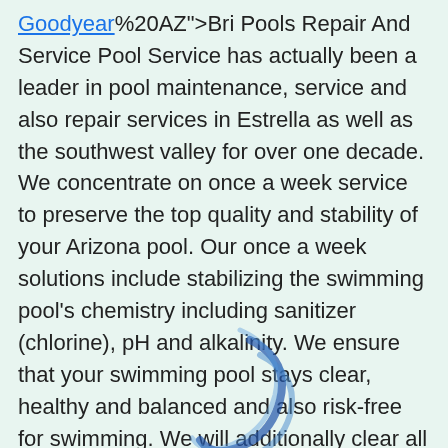Goodyear%20AZ">Bri Pools Repair And Service Pool Service has actually been a leader in pool maintenance, service and also repair services in Estrella as well as the southwest valley for over one decade. We concentrate on once a week service to preserve the top quality and stability of your Arizona pool. Our once a week solutions include stabilizing the swimming pool's chemistry including sanitizer (chlorine), pH and alkalinity. We ensure that your swimming pool stays clear, healthy and balanced and also risk-free for swimming. We will additionally clear all pump and also skimmer baskets, brush all wall surfaces, benches as well as steps and skim/net the top of the pool. We run your pool devices on a weekly basis to make sure that your pumps are running completely primed and check for any troubles, consisting of the cleansing systems. Our most important swimming pool is your own!